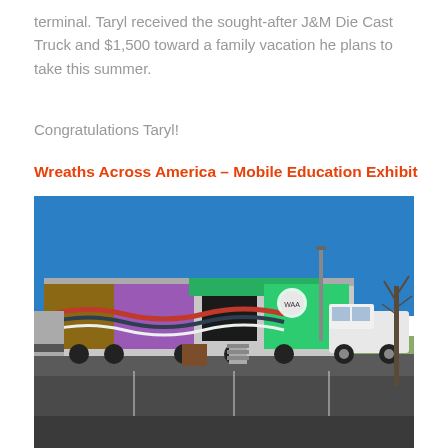terminal. Taryl received the sought-after J&M Die Cast Truck and $1,500 toward a family vacation he plans to take this summer.
Congratulations Taryl!
Wreaths Across America – Mobile Education Exhibit
[Figure (photo): A large mobile exhibit truck/trailer with colorful wraps featuring patriotic and floral imagery, parked in a parking lot under a clear blue sky. A white pickup truck is visible on the right side.]